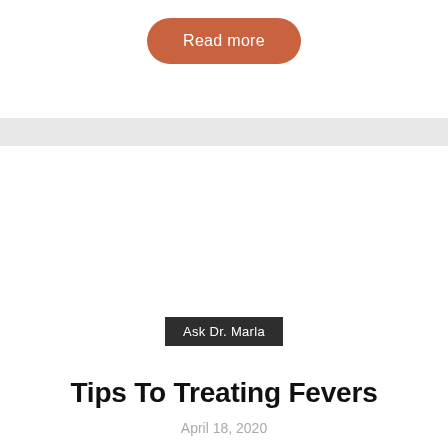Read more
Tips To Treating Fevers
April 18, 2020